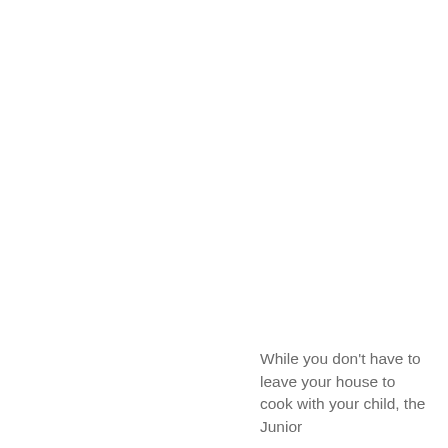While you don't have to leave your house to cook with your child, the Junior